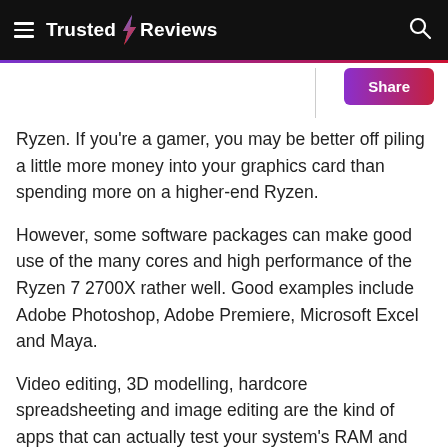Trusted Reviews
Ryzen. If you're a gamer, you may be better off piling a little more money into your graphics card than spending more on a higher-end Ryzen.
However, some software packages can make good use of the many cores and high performance of the Ryzen 7 2700X rather well. Good examples include Adobe Photoshop, Adobe Premiere, Microsoft Excel and Maya.
Video editing, 3D modelling, hardcore spreadsheeting and image editing are the kind of apps that can actually test your system's RAM and multi-threaded CPU power. These apps will like the Ryzen 2700X.
It's an octa-core processor with 16 threads, 3.7GHz clock speed and 4.3GHz turbo. Make sure you factor in its TDP